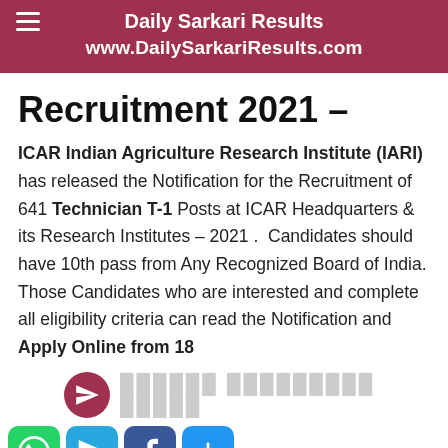Daily Sarkari Results | www.DailySarkariResults.com
Recruitment 2021 –
ICAR Indian Agriculture Research Institute (IARI) has released the Notification for the Recruitment of 641 Technician T-1 Posts at ICAR Headquarters & its Research Institutes – 2021 . Candidates should have 10th pass from Any Recognized Board of India. Those Candidates who are interested and complete all eligibility criteria can read the Notification and Apply Online from 18
[Figure (infographic): Telegram channel share button with social media icons (WhatsApp, Telegram, Facebook, More)]